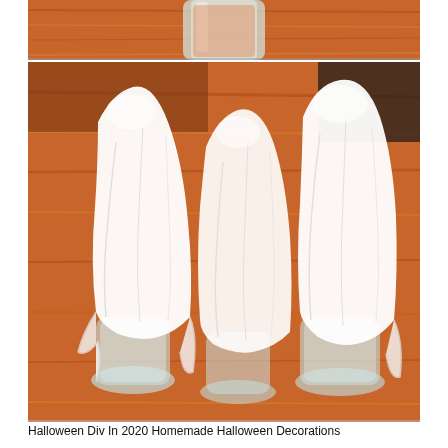[Figure (photo): Top partial photo showing a glass jar with orange interior, on a wooden surface, cut off at top]
[Figure (photo): Three white ghost decorations made from cloth or gauze draped over glass jars, sitting on a wooden table surface. The ghosts are white with flowing fabric shapes against an orange-brown wooden background.]
Halloween Div In 2020 Homemade Halloween Decorations